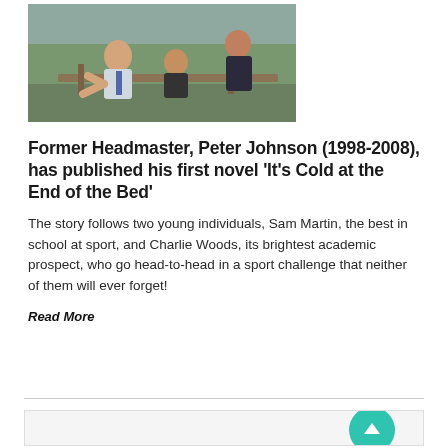[Figure (photo): Three people sitting on a bench outdoors, two men and a woman, in conversation; one man in a light blue shirt and tie gesturing with hands]
Former Headmaster, Peter Johnson (1998-2008), has published his first novel ‘It’s Cold at the End of the Bed’
The story follows two young individuals, Sam Martin, the best in school at sport, and Charlie Woods, its brightest academic prospect, who go head-to-head in a sport challenge that neither of them will ever forget!
Read More
[Figure (other): Partial view of a card or panel with a teal circle containing an upward arrow, at bottom right]